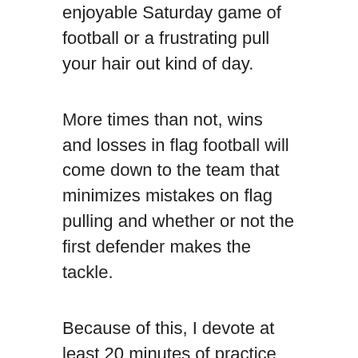enjoyable Saturday game of football or a frustrating pull your hair out kind of day.
More times than not, wins and losses in flag football will come down to the team that minimizes mistakes on flag pulling and whether or not the first defender makes the tackle.
Because of this, I devote at least 20 minutes of practice to flag pulling (most of my practices are an hour long).
With younger teams, the tendency is for runners is to get to the sideline once someone gets in their way. Because of this, working on flag pulling while chasing down the sweep is a drill I run every